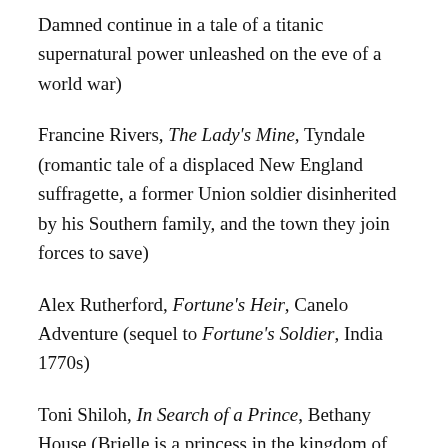Damned continue in a tale of a titanic supernatural power unleashed on the eve of a world war)
Francine Rivers, The Lady's Mine, Tyndale (romantic tale of a displaced New England suffragette, a former Union soldier disinherited by his Southern family, and the town they join forces to save)
Alex Rutherford, Fortune's Heir, Canelo Adventure (sequel to Fortune's Soldier, India 1770s)
Toni Shiloh, In Search of a Prince, Bethany House (Brielle is a princess in the kingdom of Oloro Ilé, Africa, and she must immediately assume her royal position, since the health of her grandfather, the king, is failing)